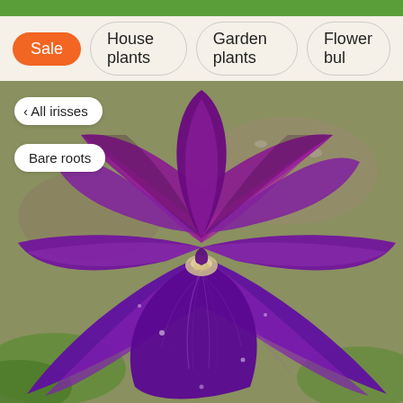Sale
House plants
Garden plants
Flower bul
[Figure (photo): Close-up photograph of a large purple/violet iris flower in full bloom, viewed from above. The flower shows ruffled petals with deep purple coloration, lighter purple veining on the lower falls, and a white-tipped beard at the center. Background shows green grass and soil/gravel.]
< All irisses
Bare roots